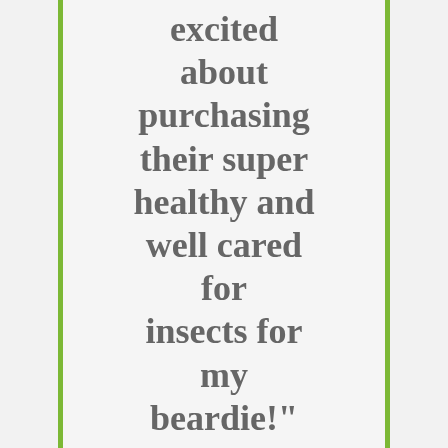excited about purchasing their super healthy and well cared for insects for my beardie!"
Brittany
1st time
Customer